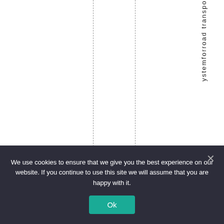ystemforroad transport
We use cookies to ensure that we give you the best experience on our website. If you continue to use this site we will assume that you are happy with it.